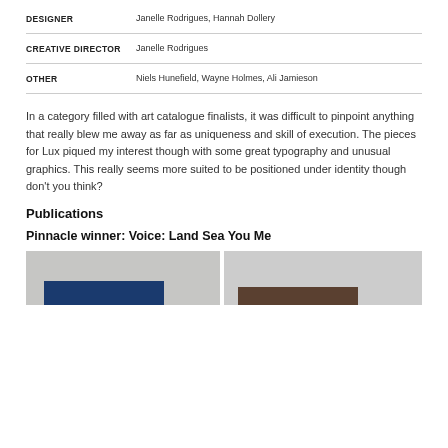| DESIGNER | Janelle Rodrigues, Hannah Dollery |
| CREATIVE DIRECTOR | Janelle Rodrigues |
| OTHER | Niels Hunefield, Wayne Holmes, Ali Jamieson |
In a category filled with art catalogue finalists, it was difficult to pinpoint anything that really blew me away as far as uniqueness and skill of execution. The pieces for Lux piqued my interest though with some great typography and unusual graphics. This really seems more suited to be positioned under identity though don't you think?
Publications
Pinnacle winner: Voice: Land Sea You Me
[Figure (photo): Two side-by-side publication cover images showing books/catalogues with blue and brown spines at bottom]